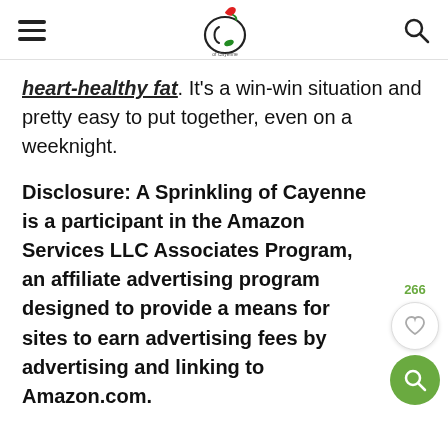[hamburger menu] [A Sprinkling of Cayenne logo] [search icon]
heart-healthy fat. It's a win-win situation and pretty easy to put together, even on a weeknight.
Disclosure: A Sprinkling of Cayenne is a participant in the Amazon Services LLC Associates Program, an affiliate advertising program designed to provide a means for sites to earn advertising fees by advertising and linking to Amazon.com.